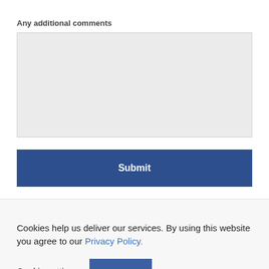Any additional comments
[Figure (other): Empty text area input box with light grey background]
[Figure (other): Submit button — dark blue rectangle with white bold text 'Submit']
Cookies help us deliver our services. By using this website you agree to our Privacy Policy.
Cookie settings
ACCEPT